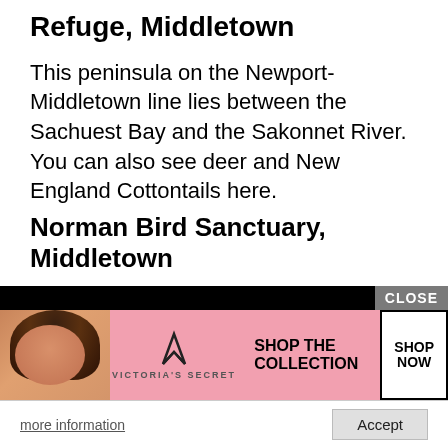Refuge, Middletown
This peninsula on the Newport-Middletown line lies between the Sachuest Bay and the Sakonnet River. You can also see deer and New England Cottontails here.
Norman Bird Sanctuary, Middletown
This spot is listed on my best walks to take in Rhode Island.
Trustom Pond National Wildlife Refuge, South Kingstown
This two mile walk through swamp thickets... lookout is full of many great deer birds, including Yellow Warblers, Blue-winged Warblers, Wood Thrushes, White-breasted
[Figure (other): Victoria's Secret advertisement overlay with close button, showing a model, VS logo, 'SHOP THE COLLECTION' text, 'SHOP NOW' button, and cookie consent bar with 'more information' and 'Accept' buttons.]